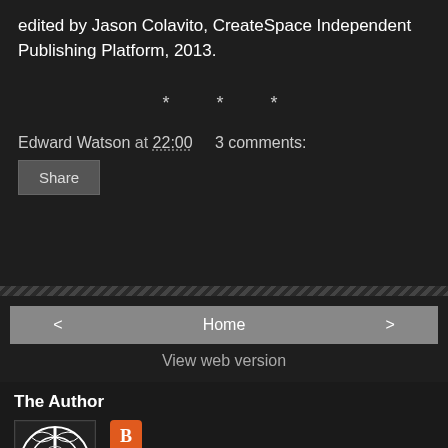edited by Jason Colavito, CreateSpace Independent Publishing Platform, 2013.
* * *
Edward Watson at 22:00    3 comments:
Share
Home
View web version
The Author
[Figure (illustration): Celtic cross knot illustration in black and white, square format]
View my complete profile